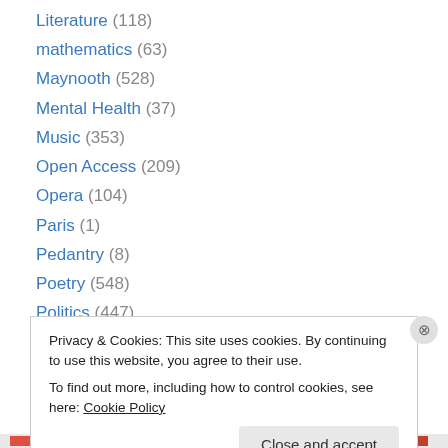Literature (118)
mathematics (63)
Maynooth (528)
Mental Health (37)
Music (353)
Open Access (209)
Opera (104)
Paris (1)
Pedantry (8)
Poetry (548)
Politics (447)
Rugby (30)
Science Politics (380)
Privacy & Cookies: This site uses cookies. By continuing to use this website, you agree to their use. To find out more, including how to control cookies, see here: Cookie Policy
Close and accept